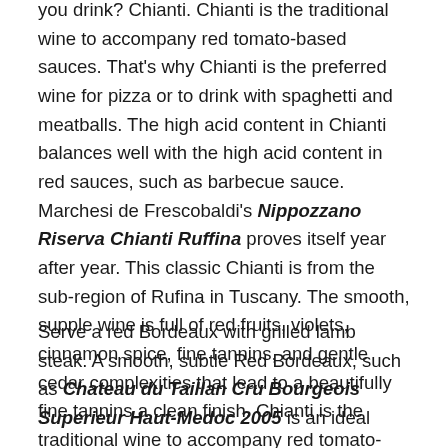you drink? Chianti. Chianti is the traditional wine to accompany red tomato-based sauces. That's why Chianti is the preferred wine for pizza or to drink with spaghetti and meatballs. The high acid content in Chianti balances well with the high acid content in red sauces, such as barbecue sauce. Marchesi de Frescobaldi's Nippozzano Riserva Chianti Ruffina proves itself year after year. This classic Chianti is from the sub-region of Rufina in Tuscany. The smooth, supple wine is full of red fruits, violets, cinnamon spice, fine tannins, and gentle cedar complexities that lead to a beautifully fine tannins a clean finish. Chianti is the traditional wine to accompany red tomato-based sauces.
Serve a red Bordeaux with grilled lamb steak. A smooth, subtle Red Bordeaux, such as Chateau du Taillan Cru Bourgeois Superieur Haut-Medoc 2005 is an ideal